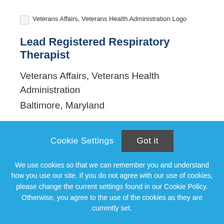[Figure (logo): Veterans Affairs, Veterans Health Administration Logo — broken image placeholder with alt text]
Lead Registered Respiratory Therapist
Veterans Affairs, Veterans Health Administration
Baltimore, Maryland
[Figure (logo): St. Luke's Health System Logo — broken image placeholder with alt text]
Cookie Settings  Got it
We use cookies so that we can remember you and understand how you use our site. If you do not agree with our use of cookies, please change the current settings found in our Cookie Policy. Otherwise, you agree to the use of the cookies as they are currently set.